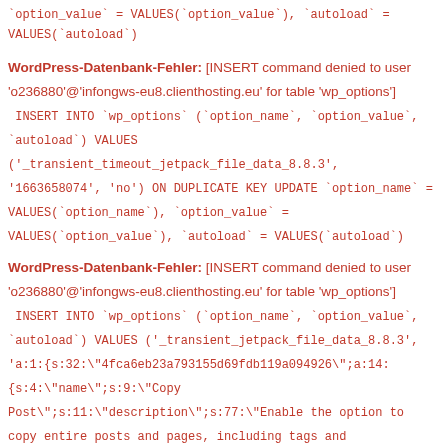`option_value` = VALUES(`option_value`), `autoload` = VALUES(`autoload`)
WordPress-Datenbank-Fehler: [INSERT command denied to user 'o236880'@'infongws-eu8.clienthosting.eu' for table 'wp_options'] INSERT INTO `wp_options` (`option_name`, `option_value`, `autoload`) VALUES ('_transient_timeout_jetpack_file_data_8.8.3', '1663658074', 'no') ON DUPLICATE KEY UPDATE `option_name` = VALUES(`option_name`), `option_value` = VALUES(`option_value`), `autoload` = VALUES(`autoload`)
WordPress-Datenbank-Fehler: [INSERT command denied to user 'o236880'@'infongws-eu8.clienthosting.eu' for table 'wp_options'] INSERT INTO `wp_options` (`option_name`, `option_value`, `autoload`) VALUES ('_transient_jetpack_file_data_8.8.3', 'a:1:{s:32:"4fca6eb23a793155d69fdb119a094926";a:14:{s:4:"name";s:9:"Copy Post";s:11:"description";s:77:"Enable the option to copy entire posts and pages, including tags and settings";s:4:"sort";s:2:"15";s:20:"recommendation_order";s:9:"duplicate";s:12:"plan_classes";s:0:"";}}}', 'no') ON DUPLICATE KEY UPDATE `option_name` = VALUES(`option_name`), `option_value` = VALUES(`option_value`), `autoload` = VALUES(`autoload`)